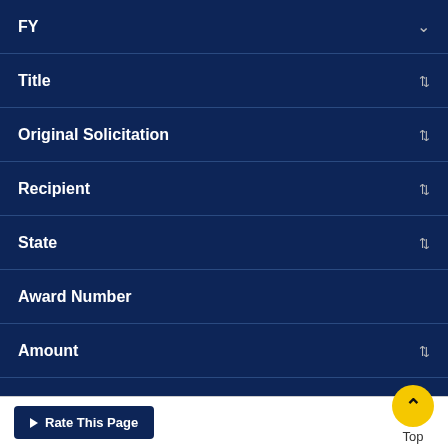| FY | Title | Original Solicitation | Recipient | State | Award Number | Amount | Status |
| --- | --- | --- | --- | --- | --- | --- | --- |
| $110,754 |  |  |  |  |  |  |  |
$110,754
Rate This Page
Top